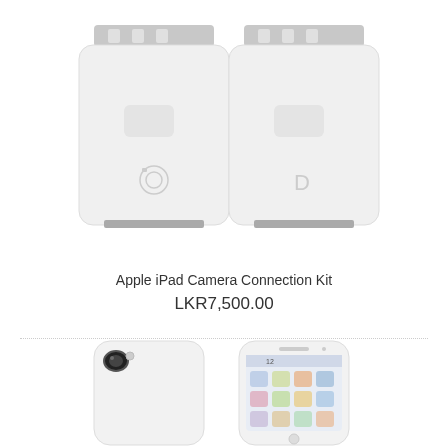[Figure (photo): Two white Apple iPad Camera Connection Kit adapters side by side. Left one has a camera icon and USB connector slot at bottom. Right one has a letter D icon and SD card slot at bottom. Both have 30-pin dock connector at top.]
Apple iPad Camera Connection Kit
LKR7,500.00
[Figure (photo): Two white iPhone cases/covers shown from different angles. Left shows the back of the case with camera cutout visible. Right shows front of iPhone inside white case displaying iOS home screen with clock showing 12.]